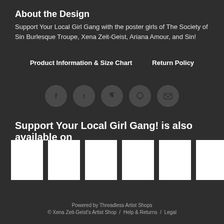About the Design
Support Your Local Girl Gang with the poster girls of The Society of Sin Burlesque Troupe, Xena Zeit-Geist, Ariana Amour, and Sin!
Product Information & Size Chart   Return Policy
[Figure (illustration): Five social media share icons (Facebook, Tumblr, Twitter, Pinterest, Email) displayed as dark circular buttons in a row]
Support Your Local Girl Gang! is also available on
[Figure (illustration): Six white thumbnail/product image placeholders in a horizontal row]
Powered by Threadless Artist Shops
© Xena Zeit-Geist's Artist Shop  /  Help & Returns  /  Legal